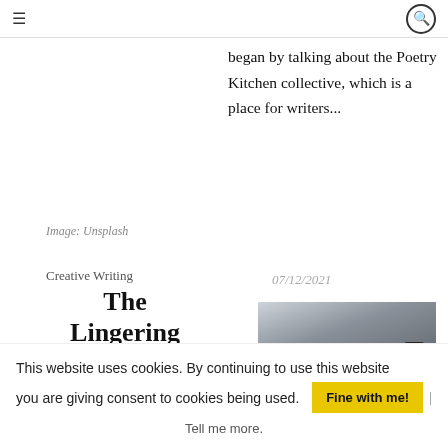≡  🔍
began by talking about the Poetry Kitchen collective, which is a place for writers...
Image: Unsplash
Creative Writing
The Lingering Scent
07/12/2021
[Figure (photo): Interior room photo showing floor and dark object in corner]
This website uses cookies. By continuing to use this website you are giving consent to cookies being used.  Fine with me! | Tell me more.